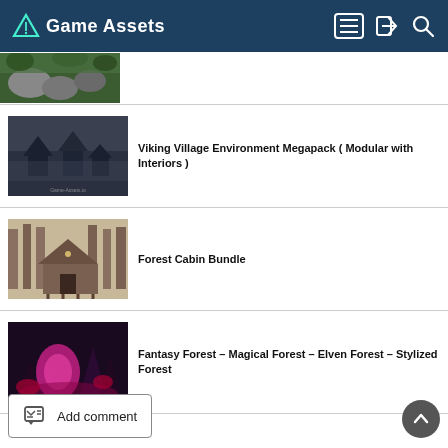Game Assets
[Figure (photo): Partial view of a forest ground with rocks and green foliage]
Viking Village Environment Megapack ( Modular with Interiors )
Forest Cabin Bundle
Fantasy Forest – Magical Forest – Elven Forest – Stylized Forest
Add comment